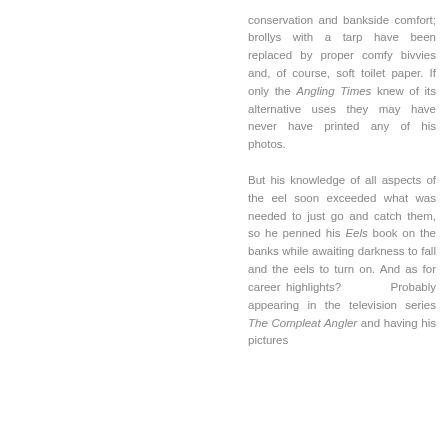conservation and bankside comfort; brollys with a tarp have been replaced by proper comfy bivvies and, of course, soft toilet paper. If only the Angling Times knew of its alternative uses they may have never have printed any of his photos.

But his knowledge of all aspects of the eel soon exceeded what was needed to just go and catch them, so he penned his Eels book on the banks while awaiting darkness to fall and the eels to turn on. And as for career highlights? Probably appearing in the television series The Compleat Angler and having his pictures